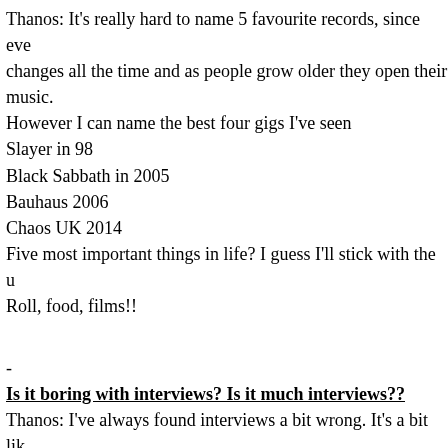Thanos: It's really hard to name 5 favourite records, since everything changes all the time and as people grow older they open their minds to more music.
However I can name the best four gigs I've seen
Slayer in 98
Black Sabbath in 2005
Bauhaus 2006
Chaos UK 2014
Five most important things in life? I guess I'll stick with the usual Rock and Roll, food, films!!
-
Is it boring with interviews? Is it much interviews??
Thanos: I've always found interviews a bit wrong. It's a bit like having a limited amount of time and questions to prove something about yourself. Bands should have to prove anything for themselves. :)
-
If you could choose five bands from the past and the history of both dead and living bands to have a concert together with, and have you been chosen?